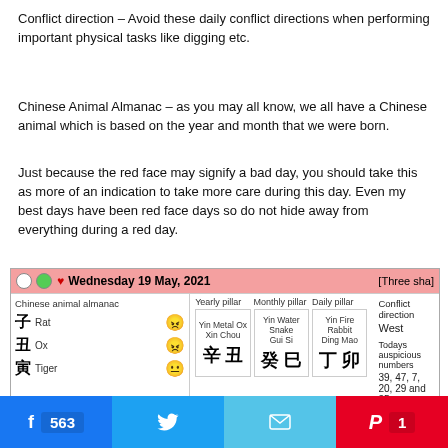Conflict direction – Avoid these daily conflict directions when performing important physical tasks like digging etc.
Chinese Animal Almanac – as you may all know, we all have a Chinese animal which is based on the year and month that we were born.
Just because the red face may signify a bad day, you should take this as more of an indication to take more care during this day. Even my best days have been red face days so do not hide away from everything during a red day.
[Figure (screenshot): Screenshot of a Chinese almanac web widget for Wednesday 19 May, 2021 showing Chinese animal almanac with Rat (red face), Ox (red face), Tiger (yellow face); Yearly pillar: Yin Metal Ox / Xin Chou with characters 辛丑; Monthly pillar: Yin Water Snake / Gui Si with characters 癸巳; Daily pillar: Yin Fire Rabbit / Ding Mao with characters 丁卯; Conflict direction: West; Todays auspicious numbers: 39, 47, 7, 20, 29 and 35; Monthly and annual flying stars header. A cookie consent overlay appears on top with Accept and Cookie settings buttons.]
Social share buttons: Facebook 563, Twitter, Email, Pinterest 1